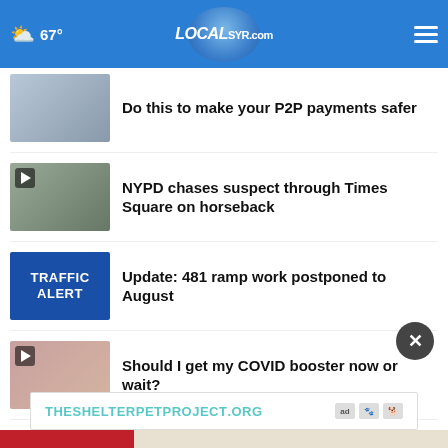LOCALsyr.com — 67°
Do this to make your P2P payments safer
NYPD chases suspect through Times Square on horseback
Update: 481 ramp work postponed to August
Should I get my COVID booster now or wait?
More Stories ›
THESHELTERPETPROJECT.ORG